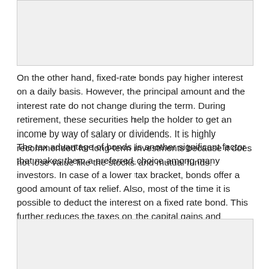[Figure (other): Gray placeholder image box at the top of the page]
On the other hand, fixed-rate bonds pay higher interest on a daily basis. However, the principal amount and the interest rate do not change during the term. During retirement, these securities help the holder to get an income by way of salary or dividends. It is highly recommended for long-term investments because it does not lose value like the stocks and mutual funds.
The tax advantage of bonds is another significant factor that makes them a preferred choice among many investors. In case of a lower tax bracket, bonds offer a good amount of tax relief. Also, most of the time it is possible to deduct the interest on a fixed rate bond. This further reduces the taxes on the capital gains and dividends. In order to avail the tax benefits, it is important to choose the right type of bonds.
[Figure (other): Gray placeholder image box at the bottom of the page]